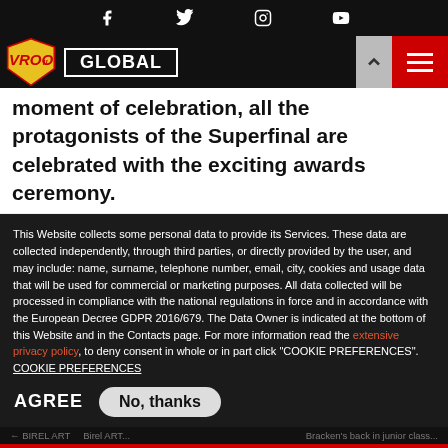Social media icons: Facebook, Twitter, Instagram, YouTube
[Figure (logo): VROOM logo with shield, GLOBAL label, hamburger menu on red background]
moment of celebration, all the protagonists of the Superfinal are celebrated with the exciting awards ceremony.
This Website collects some personal data to provide its Services. These data are collected independently, through third parties, or directly provided by the user, and may include: name, surname, telephone number, email, city, cookies and usage data that will be used for commercial or marketing purposes. All data collected will be processed in compliance with the national regulations in force and in accordance with the European Decree GDPR 2016/679. The Data Owner is indicated at the bottom of this Website and in the Contacts page. For more information read the extensive privacy policy, to deny consent in whole or in part click "COOKIE PREFERENCES". COOKIE PREFERENCES
AGREE   No, thanks
[Figure (logo): Birel ART advertisement banner with logo and www.birelart.com URL]